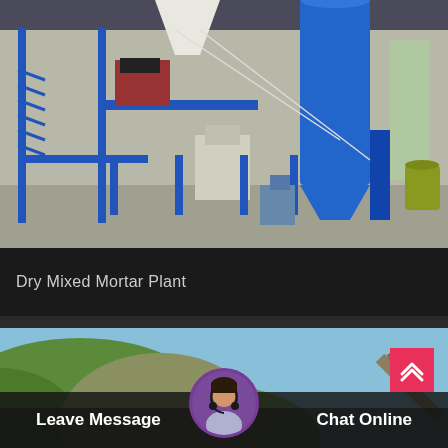[Figure (photo): Industrial dry mixed mortar plant inside a factory building with blue steel structure, large cylindrical silo, conveyor belts, bagging machines, and metal framework on a concrete floor]
Dry Mixed Mortar Plant
[Figure (photo): Outdoor quarry or mining site with green hills/mountains and heavy machinery including a crane arm visible against a blue sky]
Leave Message
Chat Online